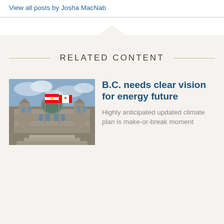View all posts by Josha MacNab
RELATED CONTENT
[Figure (photo): Photo of the British Columbia Legislature building with BC flags flying in front, stone Gothic architecture with copper dome, blue cloudy sky]
B.C. needs clear vision for energy future
Highly anticipated updated climate plan is make-or-break moment